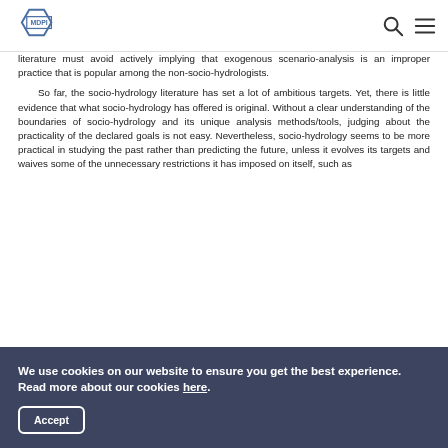MDPI
literature must avoid actively implying that exogenous scenario-analysis is an improper practice that is popular among the non-socio-hydrologists.

So far, the socio-hydrology literature has set a lot of ambitious targets. Yet, there is little evidence that what socio-hydrology has offered is original. Without a clear understanding of the boundaries of socio-hydrology and its unique analysis methods/tools, judging about the practicality of the declared goals is not easy. Nevertheless, socio-hydrology seems to be more practical in studying the past rather than predicting the future, unless it evolves its targets and waives some of the unnecessary restrictions it has imposed on itself, such as
We use cookies on our website to ensure you get the best experience. Read more about our cookies here.
Accept